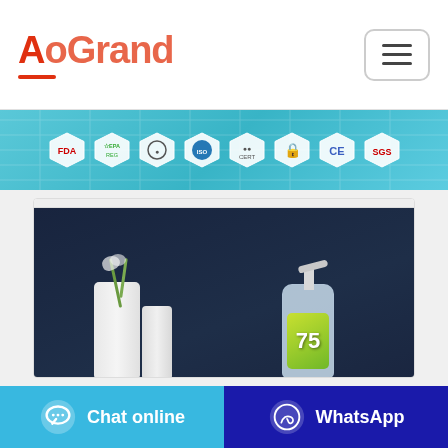[Figure (logo): AoGrand company logo in red/orange color with underline]
[Figure (infographic): Certification badges banner: FDA, EPA, and other certification hexagonal icons on a teal/blue background]
[Figure (photo): Product photo of a 75% hand sanitizer bottle with pump dispenser, white vase with flowers, on dark blue background]
Chat online
WhatsApp